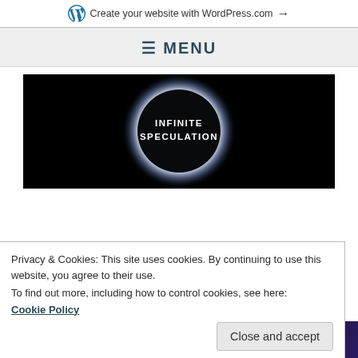Create your website with WordPress.com →
≡ MENU
[Figure (logo): Infinite Speculation logo — dark circle with glowing halo on black background, text 'INFINITE SPECULATION' in white]
Privacy & Cookies: This site uses cookies. By continuing to use this website, you agree to their use.
To find out more, including how to control cookies, see here:
Cookie Policy
Close and accept
MONDAY